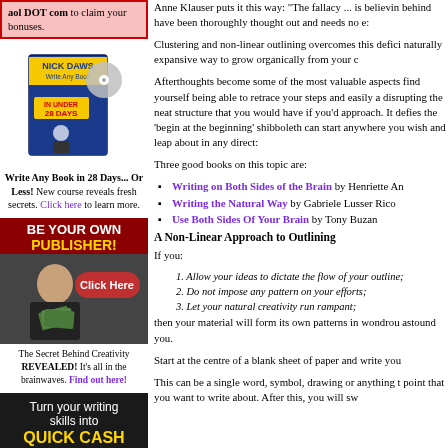aol DOT com to claim your bonuses.
[Figure (illustration): Book cover: Nick Daws - Write Any Book In Under 28 Days, with a CD]
Write Any Book in 28 Days... Or Less! New course reveals fresh secrets. Click here to learn more.
[Figure (illustration): BE YOUR OWN PUBLISHER! advertisement with woman and Click Here button]
The Secret Behind Creativity REVEALED! It's all in the brainwaves. Find out here!
[Figure (illustration): Turn your writing skills into QUICK CASH advertisement with young man]
Anne Klauser puts it this way: "The fallacy ... is believin behind have been thoroughly thought out and needs no e:
Clustering and non-linear outlining overcomes this defici naturally expansive way to grow organically from your c
Afterthoughts become some of the most valuable aspects find yourself being able to retrace your steps and easily a disrupting the neat structure that you would have if you'd approach. It defies the 'begin at the beginning' shibboleth can start anywhere you wish and leap about in any direct:
Three good books on this topic are:
Writing on Both Sides of the Brain by Henriette An
Writing the Natural Way by Gabriele Lusser Rico
Use Both Sides Of Your Brain by Tony Buzan
A Non-Linear Approach to Outlining
If you:
1. Allow your ideas to dictate the flow of your outline;
2. Do not impose any pattern on your efforts;
3. Let your natural creativity run rampant;
then your material will form its own patterns in wondrou astound you.
Start at the centre of a blank sheet of paper and write you
This can be a single word, symbol, drawing or anything t point that you want to write about. After this, you will sw